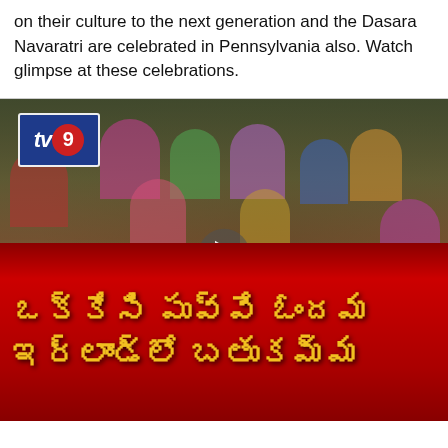on their culture to the next generation and the Dasara Navaratri are celebrated in Pennsylvania also. Watch glimpse at these celebrations.
[Figure (screenshot): TV9 news video screenshot showing women in colorful sarees dancing/celebrating Bathukamma festival. The TV9 logo appears in the top-left corner. Red banner at the bottom shows Telugu script text reading 'Okkesi Puvve... Chandama / Maryland lo Bathukamma' (roughly). A play button is visible in the center.]